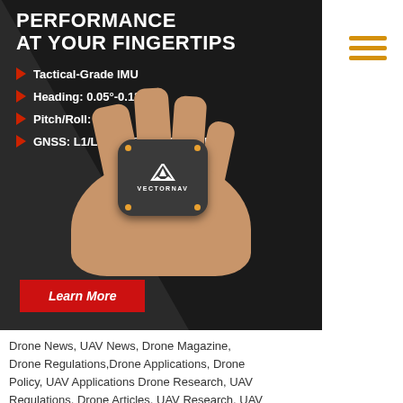[Figure (illustration): VectorNav advertisement banner. Dark background with bold white text 'PERFORMANCE AT YOUR FINGERTIPS', bullet points listing Tactical-Grade IMU, Heading 0.05°-0.1°, Pitch/Roll 0.015°, GNSS L1/L2/E1/E5 with RTK/PPK. A hand holding a small dark hexagonal VectorNav sensor device is shown. A red 'Learn More' button appears at bottom.]
Drone News, UAV News, Drone Magazine, Drone Regulations,Drone Applications, Drone Policy, UAV Applications Drone Research, UAV Regulations, Drone Articles, UAV Research, UAV